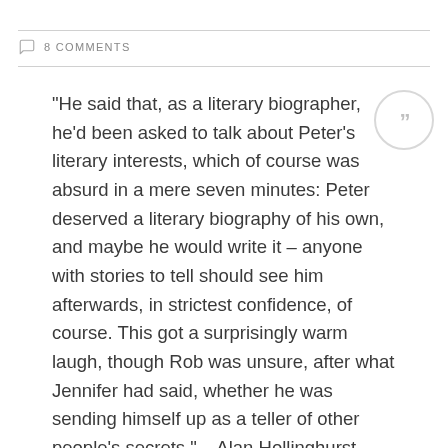8 COMMENTS
"He said that, as a literary biographer, he'd been asked to talk about Peter's literary interests, which of course was absurd in a mere seven minutes: Peter deserved a literary biography of his own, and maybe he would write it – anyone with stories to tell should see him afterwards, in strictest confidence, of course. This got a surprisingly warm laugh, though Rob was unsure, after what Jennifer had said, whether he was sending himself up as a teller of other people's secrets." – Alan Hollinghurst, The Stranger's Child